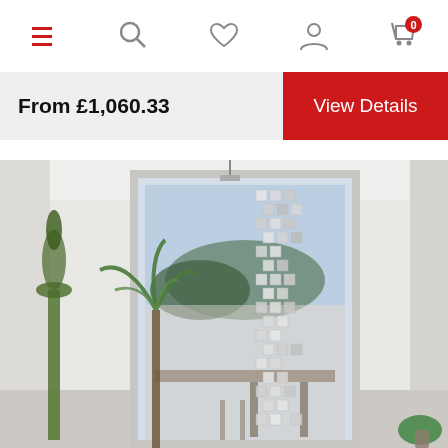[Figure (screenshot): Navigation bar with hamburger menu, search, heart/wishlist, profile, and shopping cart icons (cart shows badge with 0)]
From £1,060.33
View Details
[Figure (photo): Interior room photo showing a glass sliding door with decorative pixel/square pattern frosting down the center, with plants and furniture visible]